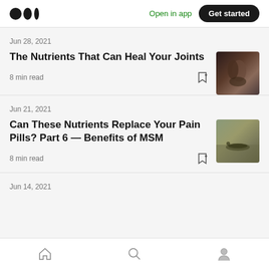Medium logo | Open in app | Get started
Jun 28, 2021
The Nutrients That Can Heal Your Joints
8 min read
[Figure (photo): Fitness/muscle photo thumbnail for article 1]
Jun 21, 2021
Can These Nutrients Replace Your Pain Pills? Part 6 — Benefits of MSM
8 min read
[Figure (photo): Nature/crocodile photo thumbnail for article 2]
Jun 14, 2021
Home | Search | Profile